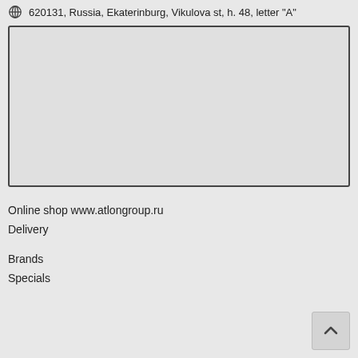620131, Russia, Ekaterinburg, Vikulova st, h. 48, letter "A"
[Figure (map): A blank light gray map placeholder rectangle with a dark border]
Online shop www.atlongroup.ru
Delivery
Brands
Specials